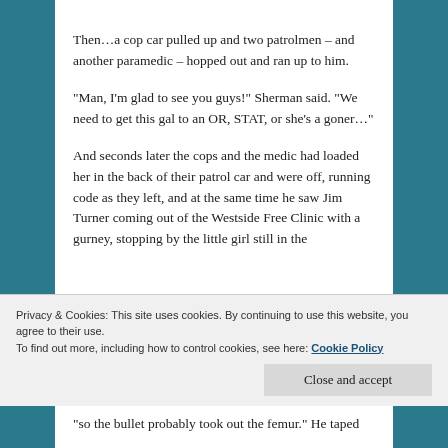Then...a cop car pulled up and two patrolmen – and another paramedic – hopped out and ran up to him.
“Man, I’m glad to see you guys!” Sherman said. “We need to get this gal to an OR, STAT, or she’s a goner…”
And seconds later the cops and the medic had loaded her in the back of their patrol car and were off, running code as they left, and at the same time he saw Jim Turner coming out of the Westside Free Clinic with a gurney, stopping by the little girl still in the
Privacy & Cookies: This site uses cookies. By continuing to use this website, you agree to their use.
To find out more, including how to control cookies, see here: Cookie Policy
“so the bullet probably took out the femur.” He taped